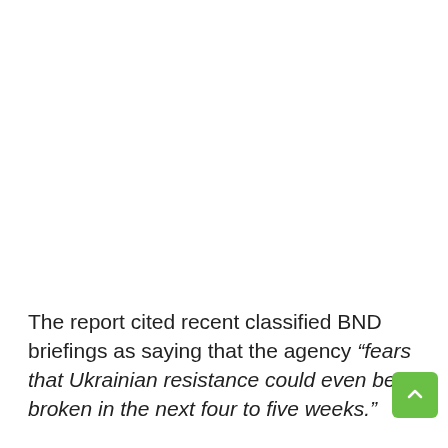The report cited recent classified BND briefings as saying that the agency “fears that Ukrainian resistance could even be broken in the next four to five weeks.”